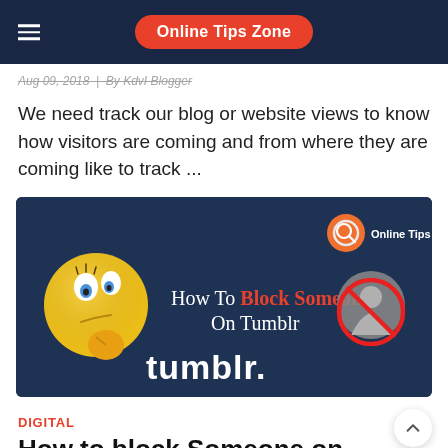Online Tips Zone
Aug 09, 2018  |  By KdvI Blogger
We need track our blog or website views to know how visitors are coming and from where they are coming like to track ...
[Figure (illustration): Tumblr blog post thumbnail image with dark navy background, a thinking emoji on the left, a red 'no' symbol over a grey person silhouette on the right, text 'How To Block Someone On Tumblr' in center, and 'tumblr.' wordmark at bottom. Top right has orange search icon with 'Online Tips Zone' label.]
DIGITAL
How to block Someone on Tumblr...